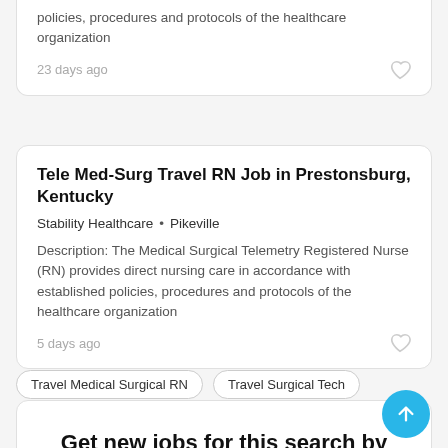policies, procedures and protocols of the healthcare organization
23 days ago
Tele Med-Surg Travel RN Job in Prestonsburg, Kentucky
Stability Healthcare · Pikeville
Description: The Medical Surgical Telemetry Registered Nurse (RN) provides direct nursing care in accordance with established policies, procedures and protocols of the healthcare organization
5 days ago
Travel Medical Surgical RN
Travel Surgical Tech
Get new jobs for this search by email